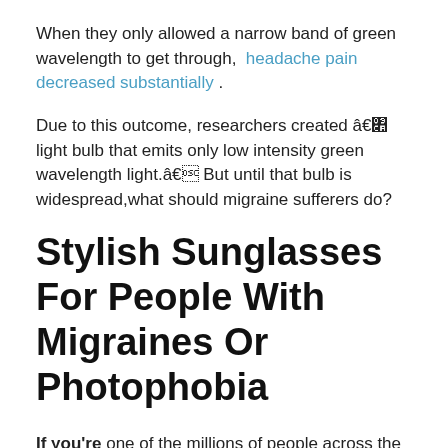When they only allowed a narrow band of green wavelength to get through, headache pain decreased substantially.
Due to this outcome, researchers created “a light bulb that emits only low intensity green wavelength light.” But until that bulb is widespread,what should migraine sufferers do?
Stylish Sunglasses For People With Migraines Or Photophobia
If you’re one of the millions of people across the world that suffers from light sensitivity, it’s a good idea to invest in a quality pair of sunglasses. Photophobia, migraines, and a